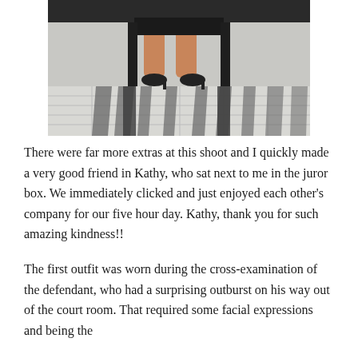[Figure (photo): A person sitting on a bench outdoors, showing only their legs and feet in black heels. The shadow of the bench casts a geometric pattern on the light-colored tile floor below.]
There were far more extras at this shoot and I quickly made a very good friend in Kathy, who sat next to me in the juror box. We immediately clicked and just enjoyed each other's company for our five hour day. Kathy, thank you for such amazing kindness!!
The first outfit was worn during the cross-examination of the defendant, who had a surprising outburst on his way out of the court room. That required some facial expressions and being the